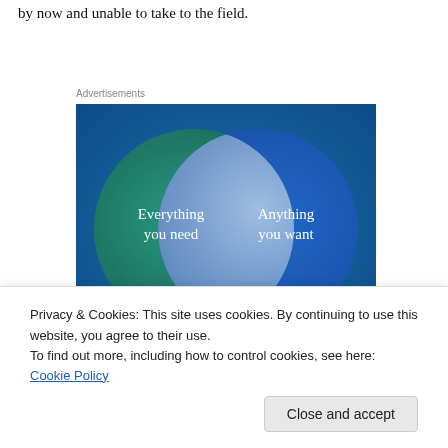by now and unable to take to the field.
Advertisements
[Figure (infographic): Venn diagram advertisement with two overlapping circles on a blue/teal gradient background. Left circle (teal/green) labeled 'Everything you need', right circle (blue) labeled 'Anything you want', with overlapping area showing a lighter intersection.]
Privacy & Cookies: This site uses cookies. By continuing to use this website, you agree to their use.
To find out more, including how to control cookies, see here: Cookie Policy
Close and accept